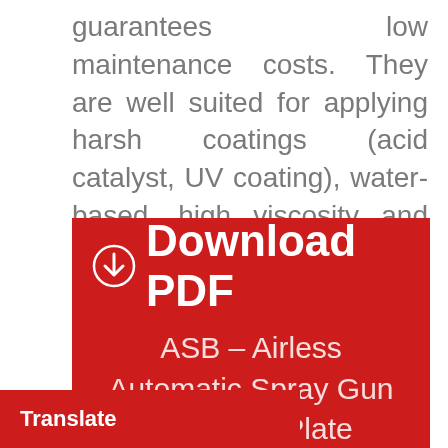guarantees low maintenance costs. They are well suited for applying harsh coatings (acid catalyst, UV coating), water-based, high viscosity and abrasive materials.
[Figure (other): Red download banner with download icon and text: Download PDF — ASB – Airless Automatic Spray Gun and Base Plate]
Translate